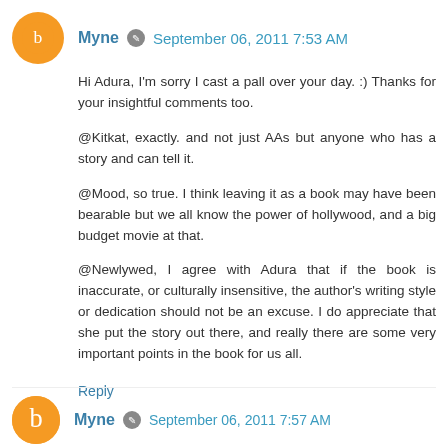Myne ✏ September 06, 2011 7:53 AM
Hi Adura, I'm sorry I cast a pall over your day. :) Thanks for your insightful comments too.

@Kitkat, exactly. and not just AAs but anyone who has a story and can tell it.

@Mood, so true. I think leaving it as a book may have been bearable but we all know the power of hollywood, and a big budget movie at that.

@Newlywed, I agree with Adura that if the book is inaccurate, or culturally insensitive, the author's writing style or dedication should not be an excuse. I do appreciate that she put the story out there, and really there are some very important points in the book for us all.
Reply
Myne ✏ September 06, 2011 7:57 AM